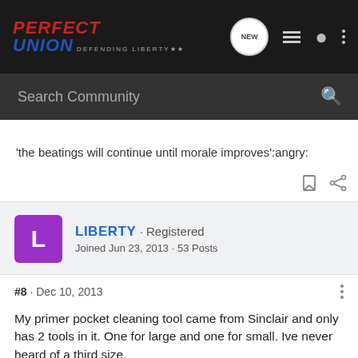Perfect Union · Defending Liberty
'the beatings will continue until morale improves':angry:
LIBERTY · Registered
Joined Jun 23, 2013 · 53 Posts
#8 · Dec 10, 2013
My primer pocket cleaning tool came from Sinclair and only has 2 tools in it. One for large and one for small. Ive never heard of a third size.